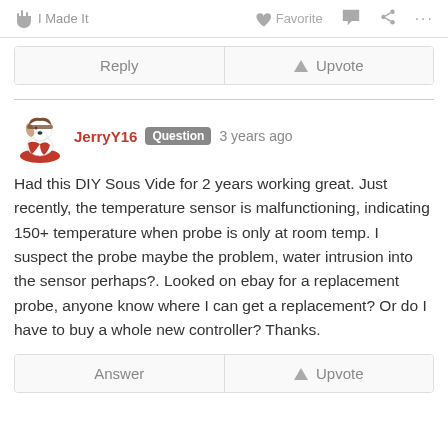I Made It   Favorite   ...
Reply   Upvote
JerryY16  Question  3 years ago
Had this DIY Sous Vide for 2 years working great. Just recently, the temperature sensor is malfunctioning, indicating 150+ temperature when probe is only at room temp. I suspect the probe maybe the problem, water intrusion into the sensor perhaps?. Looked on ebay for a replacement probe, anyone know where I can get a replacement? Or do I have to buy a whole new controller? Thanks.
Answer   Upvote